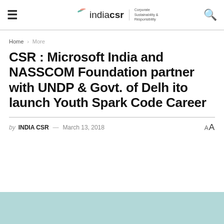indiacsr | Corporate Sustainability & Responsibility
Home > More
CSR : Microsoft India and NASSCOM Foundation partner with UNDP & Govt. of Delh ito launch Youth Spark Code Career
by INDIA CSR — March 13, 2018
[Figure (photo): Teal/mint colored image at the bottom of the page, partially visible]